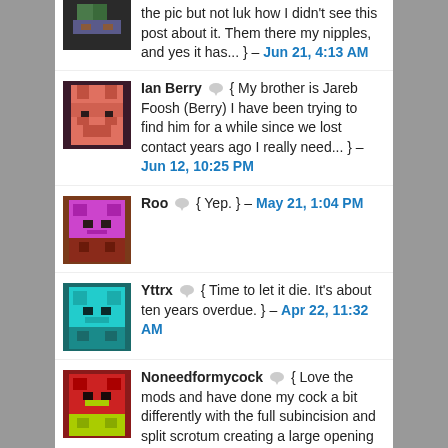the pic but not luk how I didn't see this post about it. Them there my nipples, and yes it has... } – Jun 21, 4:13 AM
Ian Berry { My brother is Jareb Foosh (Berry) I have been trying to find him for a while since we lost contact years ago I really need... } – Jun 12, 10:25 PM
Roo { Yep. } – May 21, 1:04 PM
Yttrx { Time to let it die. It's about ten years overdue. } – Apr 22, 11:32 AM
Noneedformycock { Love the mods and have done my cock a bit differently with the full subincision and split scrotum creating a large opening for the urethra... } – Mar 30, 5:50 AM
Rac { Gorgeous nipple and ring. How about piercing the other one and then stretching them? } – Mar 25, 12:00 AM
MissWerecat { Mrrsww, that's sooo cute }